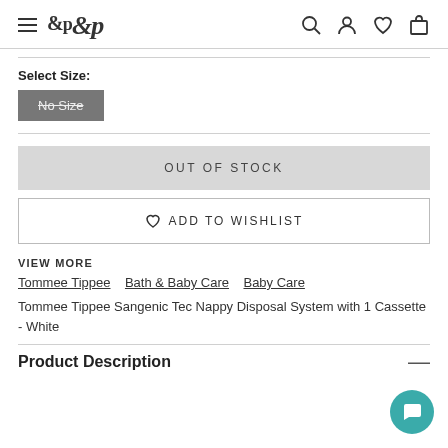m&p [navigation header with search, user, wishlist, cart icons]
Select Size:
No Size
OUT OF STOCK
♡ ADD TO WISHLIST
VIEW MORE
Tommee Tippee   Bath & Baby Care   Baby Care
Tommee Tippee Sangenic Tec Nappy Disposal System with 1 Cassette - White
Product Description